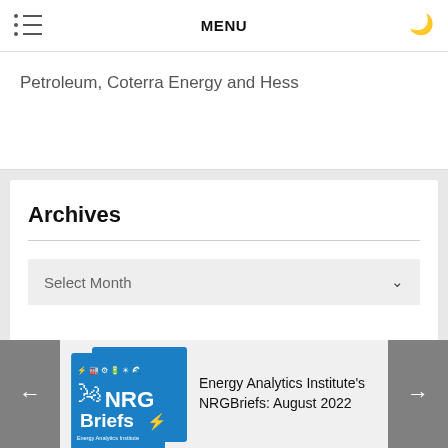MENU
Petroleum, Coterra Energy and Hess
Archives
Select Month
[Figure (illustration): NRGBriefs blue square thumbnail with wind turbine and energy icons]
Energy Analytics Institute's NRGBriefs: August 2022